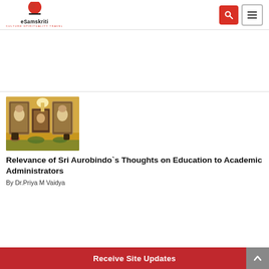eSamskriti — CULTURE SPIRITUALITY TRAVEL
[Figure (photo): Shrine with framed portraits of Sri Aurobindo and The Mother, a lamp, and flower decorations on a yellow-draped table]
Relevance of Sri Aurobindo`s Thoughts on Education to Academic Administrators
By Dr.Priya M Vaidya
Receive Site Updates